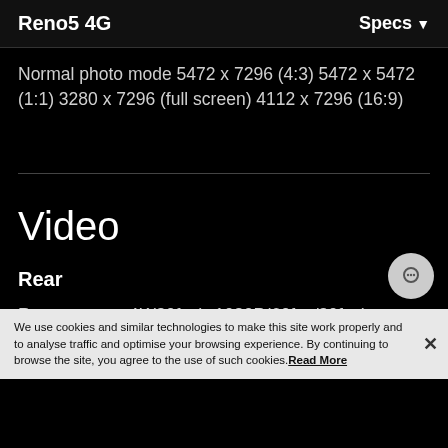Reno5 4G   Specs ▾
Normal photo mode 5472 x 7296 (4:3) 5472 x 5472 (1:1) 3280 x 7296 (full screen) 4112 x 7296 (16:9)
Video
Rear
Rear camera: 4K(30fps), 1080P(60fps/30fps), 720P(60fps/30fps). Video slo-mo: 1080P(480fps/120fps).
We use cookies and similar technologies to make this site work properly and to analyse traffic and optimise your browsing experience. By continuing to browse the site, you agree to the use of such cookies. Read More